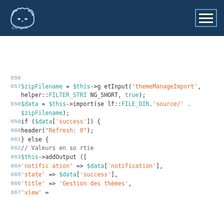chApril
[Figure (screenshot): Code viewer showing PHP code lines 656-667, with syntax highlighting. Dark navy header bar with chApril logo and hamburger menu. Code shows $zipFilename assignment, $data import call, conditional checking $data['success'], header Refresh:0, else branch with addOutput, and array entries for notification, state, title keys.]